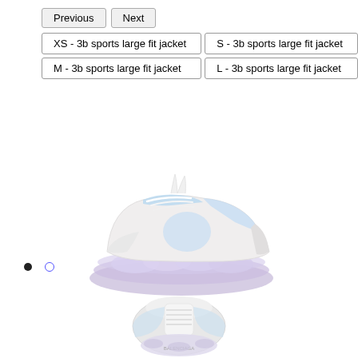Previous
Next
XS - 3b sports large fit jacket
S - 3b sports large fit jacket
M - 3b sports large fit jacket
L - 3b sports large fit jacket
[Figure (photo): A Balenciaga-style chunky sneaker, white with light blue accents and a translucent lavender/purple sole, viewed from the side (left). The shoe has white laces and a bulky triple-sole construction.]
[Figure (photo): A Balenciaga-style chunky sneaker viewed from above/top-down angle, white colorway with light blue and lavender details, showing the top of the shoe and the thick sole from above.]